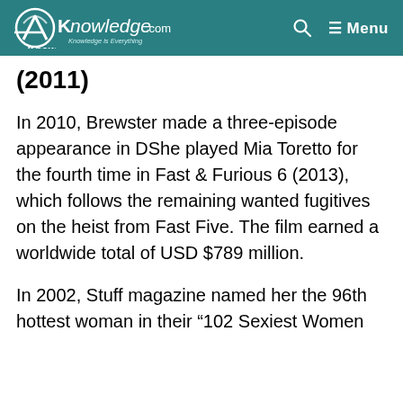AKnowledge.com — Menu
(2011)
In 2010, Brewster made a three-episode appearance in DShe played Mia Toretto for the fourth time in Fast & Furious 6 (2013), which follows the remaining wanted fugitives on the heist from Fast Five. The film earned a worldwide total of USD $789 million.
In 2002, Stuff magazine named her the 96th hottest woman in their “102 Sexiest Women